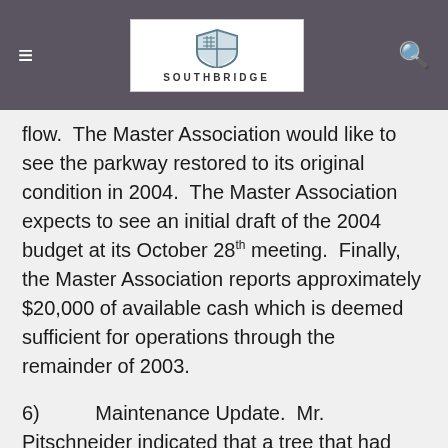SOUTHBRIDGE
flow.  The Master Association would like to see the parkway restored to its original condition in 2004.  The Master Association expects to see an initial draft of the 2004 budget at its October 28th meeting.  Finally, the Master Association reports approximately $20,000 of available cash which is deemed sufficient for operations through the remainder of 2003.
6)        Maintenance Update.  Mr. Pitschneider indicated that a tree that had been damaged by a recent storm had not been cleared and that he was discuss this issue further with the City Park Department.  Some discussions have been had recently with residents about funding some